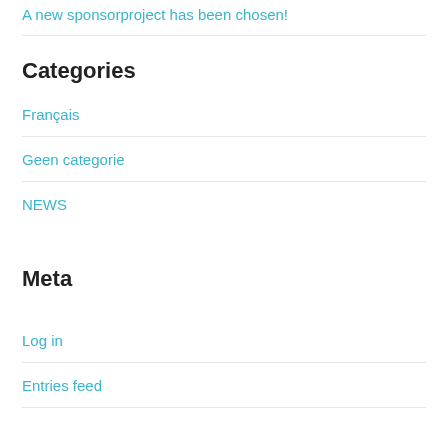A new sponsorproject has been chosen!
Categories
Français
Geen categorie
NEWS
Meta
Log in
Entries feed